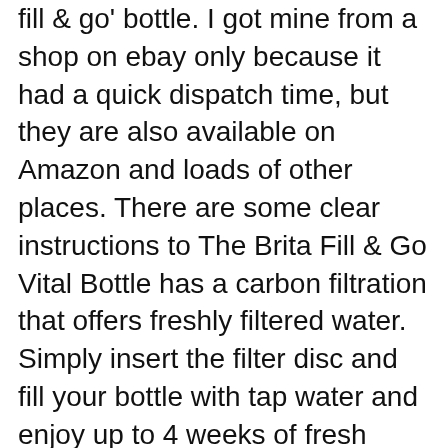fill & go' bottle. I got mine from a shop on ebay only because it had a quick dispatch time, but they are also available on Amazon and loads of other places. There are some clear instructions to The Brita Fill & Go Vital Bottle has a carbon filtration that offers freshly filtered water. Simply insert the filter disc and fill your bottle with tap water and enjoy up to 4 weeks of fresh water.
Dec 06, 2014B B· BRITA Fill & Go Water Bottle Review & Giveaway! Susan December 6, 2014 Lifestyle , Natural Living , Win and Giveaways As part of the Natural Living Series I have teamed up with BRITA water to do a review of